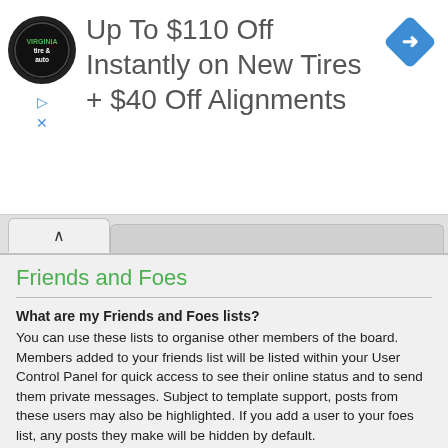[Figure (infographic): Advertisement banner: Virginia Tire & Auto logo (circular black badge), text 'Up To $110 Off Instantly on New Tires + $40 Off Alignments', blue diamond navigation arrow icon, play and X icons on left side]
Friends and Foes
What are my Friends and Foes lists?
You can use these lists to organise other members of the board. Members added to your friends list will be listed within your User Control Panel for quick access to see their online status and to send them private messages. Subject to template support, posts from these users may also be highlighted. If you add a user to your foes list, any posts they make will be hidden by default.
Top
How can I add / remove users to my Friends or Foes list?
You can add users to your list in two ways. Within each user's profile, there is a link to add them to either your Friend or Foe list.
Alternatively, from your User Control Panel, you can directly add...